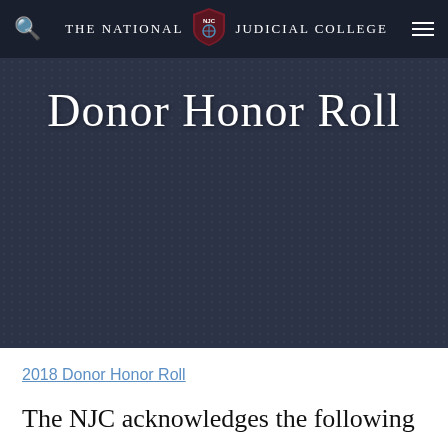The National Judicial College
Donor Honor Roll
2018 Donor Honor Roll
The NJC acknowledges the following